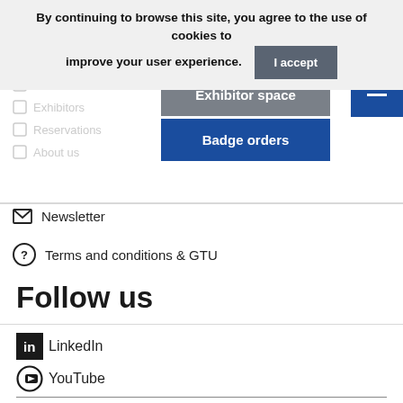By continuing to browse this site, you agree to the use of cookies to improve your user experience. I accept
[Figure (screenshot): Navigation menu area with blurred/faded nav items and two dropdown overlays: grey 'Exhibitor space' and blue 'Badge orders', plus blue hamburger menu button top right]
Newsletter
Terms and conditions & GTU
Follow us
LinkedIn
YouTube